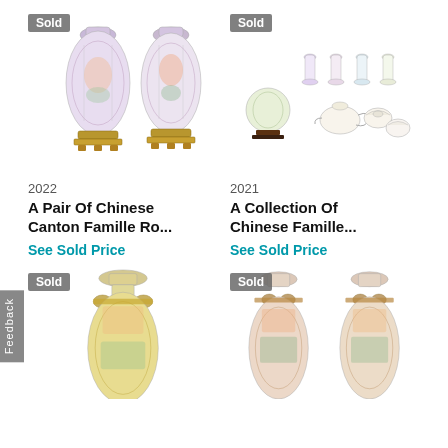[Figure (photo): A pair of Chinese Canton Famille Rose vases with bronze mounts, 'Sold' badge overlay. Two ornate vases with figural painted scenes, on decorative stands.]
2022
A Pair Of Chinese Canton Famille Ro...
See Sold Price
[Figure (photo): A collection of Chinese Famille Rose porcelain pieces including small vases, a globe vase on stand, teapot, and covered bowls. 'Sold' badge overlay.]
2021
A Collection Of Chinese Famille...
See Sold Price
[Figure (photo): A Chinese Canton Famille Rose large vase with figural decoration and lion-head handles. 'Sold' badge overlay. Image cropped at bottom.]
[Figure (photo): A pair of Chinese Canton Famille Rose vases with figural painted scenes and decorative handles. 'Sold' badge overlay. Image cropped at bottom.]